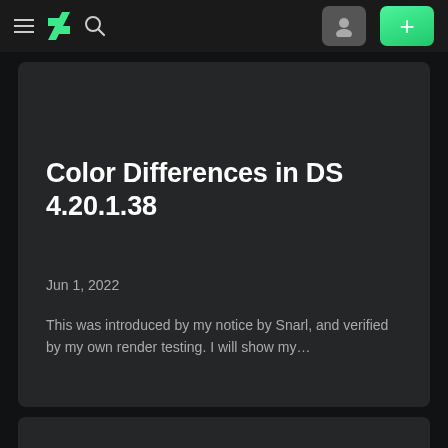≡ [DeviantArt logo] 🔍   [avatar] [+]
Color Differences in DS 4.20.1.38
Jun 1, 2022
This was introduced by my notice by Snarl, and verified by my own render testing. I will show my…